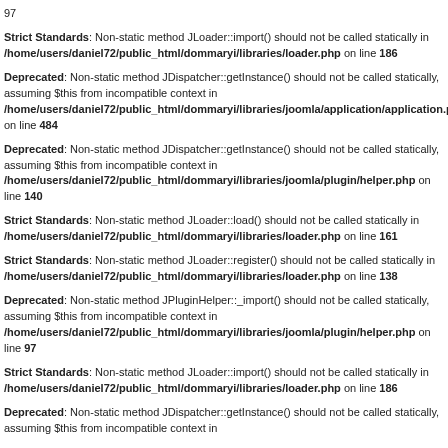97
Strict Standards: Non-static method JLoader::import() should not be called statically in /home/users/daniel72/public_html/dommaryi/libraries/loader.php on line 186
Deprecated: Non-static method JDispatcher::getInstance() should not be called statically, assuming $this from incompatible context in /home/users/daniel72/public_html/dommaryi/libraries/joomla/application/application.p on line 484
Deprecated: Non-static method JDispatcher::getInstance() should not be called statically, assuming $this from incompatible context in /home/users/daniel72/public_html/dommaryi/libraries/joomla/plugin/helper.php on line 140
Strict Standards: Non-static method JLoader::load() should not be called statically in /home/users/daniel72/public_html/dommaryi/libraries/loader.php on line 161
Strict Standards: Non-static method JLoader::register() should not be called statically in /home/users/daniel72/public_html/dommaryi/libraries/loader.php on line 138
Deprecated: Non-static method JPluginHelper::_import() should not be called statically, assuming $this from incompatible context in /home/users/daniel72/public_html/dommaryi/libraries/joomla/plugin/helper.php on line 97
Strict Standards: Non-static method JLoader::import() should not be called statically in /home/users/daniel72/public_html/dommaryi/libraries/loader.php on line 186
Deprecated: Non-static method JDispatcher::getInstance() should not be called statically, assuming $this from incompatible context in